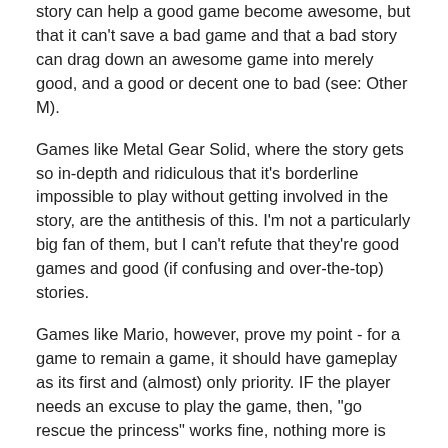story can help a good game become awesome, but that it can't save a bad game and that a bad story can drag down an awesome game into merely good, and a good or decent one to bad (see: Other M).
Games like Metal Gear Solid, where the story gets so in-depth and ridiculous that it's borderline impossible to play without getting involved in the story, are the antithesis of this. I'm not a particularly big fan of them, but I can't refute that they're good games and good (if confusing and over-the-top) stories.
Games like Mario, however, prove my point - for a game to remain a game, it should have gameplay as its first and (almost) only priority. IF the player needs an excuse to play the game, then, "go rescue the princess" works fine, nothing more is needed (see: Mario, Castle Crashers, Link to the Past's intro). It's when directors and producers want to start integrating story and want to start telling some story they cooked up that things get complicated.
Again, don't get me wrong - there are some REALLY good game storylines and plots out there (Okami, Majora's Mask), it's just that I feel a lot of them are either full of shit (Final Fantasy 7+) or that they really shouldn't be adapted to a game in the first place (movie-to-game transitions).